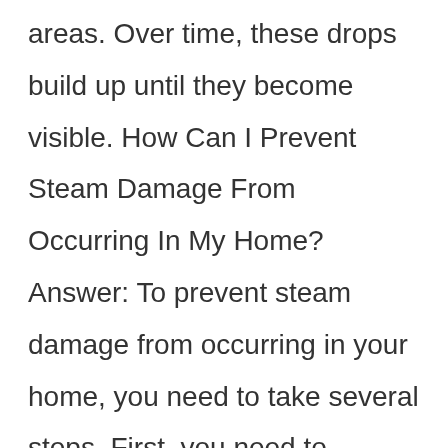areas. Over time, these drops build up until they become visible. How Can I Prevent Steam Damage From Occurring In My Home? Answer: To prevent steam damage from occurring in your home, you need to take several steps. First, you need to ensure that your windows and doors are properly sealed. Second, you need to make